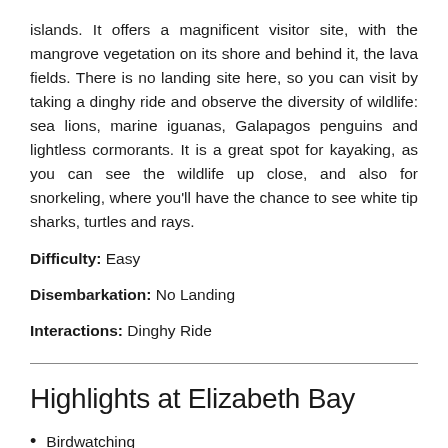islands. It offers a magnificent visitor site, with the mangrove vegetation on its shore and behind it, the lava fields. There is no landing site here, so you can visit by taking a dinghy ride and observe the diversity of wildlife: sea lions, marine iguanas, Galapagos penguins and lightless cormorants. It is a great spot for kayaking, as you can see the wildlife up close, and also for snorkeling, where you'll have the chance to see white tip sharks, turtles and rays.
Difficulty: Easy
Disembarkation: No Landing
Interactions: Dinghy Ride
Highlights at Elizabeth Bay
Birdwatching